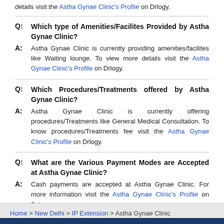details visit the Astha Gynae Clinic's Profile on Drlogy.
Q: Which type of Amenities/Facilites Provided by Astha Gynae Clinic?
A: Astha Gynae Clinic is currently providing amenities/facilites like Waiting lounge. To view more details visit the Astha Gynae Clinic's Profile on Drlogy.
Q: Which Procedures/Treatments offered by Astha Gynae Clinic?
A: Astha Gynae Clinic is currently offering procedures/Treatments like General Medical Consultation. To know procedures/Treatments fee visit the Astha Gynae Clinic's Profile on Drlogy.
Q: What are the Various Payment Modes are Accepted at Astha Gynae Clinic?
A: Cash payments are accepted at Astha Gynae Clinic. For more information visit the Astha Gynae Clinic's Profile on Drlogy.
Home > New Delhi > IP Extension > Astha Gynae Clinic